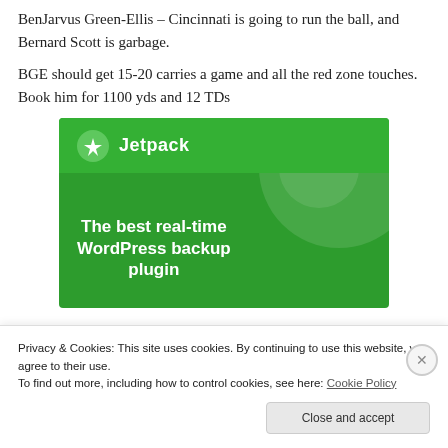BenJarvus Green-Ellis – Cincinnati is going to run the ball, and Bernard Scott is garbage.
BGE should get 15-20 carries a game and all the red zone touches. Book him for 1100 yds and 12 TDs
[Figure (illustration): Jetpack WordPress plugin advertisement. Green background with Jetpack logo (circle with lightning bolt icon) at top and tagline 'The best real-time WordPress backup plugin' in white bold text.]
Privacy & Cookies: This site uses cookies. By continuing to use this website, you agree to their use.
To find out more, including how to control cookies, see here: Cookie Policy
Close and accept